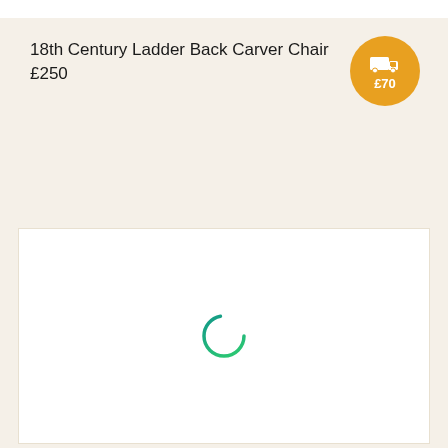18th Century Ladder Back Carver Chair
£250
[Figure (illustration): Orange circular delivery badge with truck icon and £70 delivery price]
[Figure (other): White image loading area with a circular loading spinner in teal/green gradient]